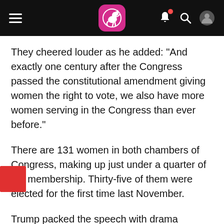[Figure (screenshot): Mobile app navigation bar with hamburger menu, pink kangaroo logo, bell icon with red notification dot, search icon, and user profile icon on black background]
They cheered louder as he added: "And exactly one century after the Congress passed the constitutional amendment giving women the right to vote, we also have more women serving in the Congress than ever before."
There are 131 women in both chambers of Congress, making up just under a quarter of the membership. Thirty-five of them were elected for the first time last November.
Trump packed the speech with drama recognizing people present in the audience at appropriate points in his speech, such as astronaut Buzz Aldrin when he